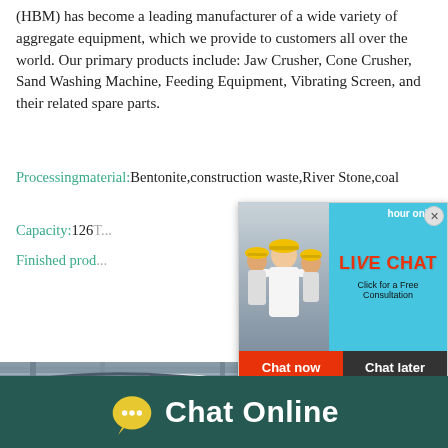(HBM) has become a leading manufacturer of a wide variety of aggregate equipment, which we provide to customers all over the world. Our primary products include: Jaw Crusher, Cone Crusher, Sand Washing Machine, Feeding Equipment, Vibrating Screen, and their related spare parts.
Processingmaterial: Bentonite,construction waste,River Stone,coal
Capacity: 126T...
Finished prod...
[Figure (screenshot): Live chat popup overlay with photo of workers in hard hats, LIVE CHAT title in red, 'Click for a Free Consultation' subtitle, Chat now (red) and Chat later (dark) buttons, and hour online text]
[Figure (photo): Industrial equipment photo showing crushing/processing machinery from below]
[Figure (illustration): Cone crusher machine illustration on blue/cyan background with 'Click me to chat>>' button]
Chat Online